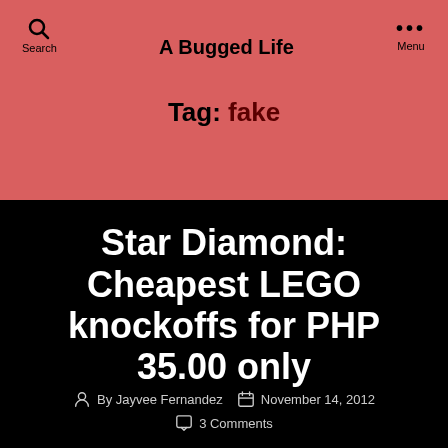A Bugged Life
Tag: fake
Star Diamond: Cheapest LEGO knockoffs for PHP 35.00 only
By Jayvee Fernandez   November 14, 2012   3 Comments